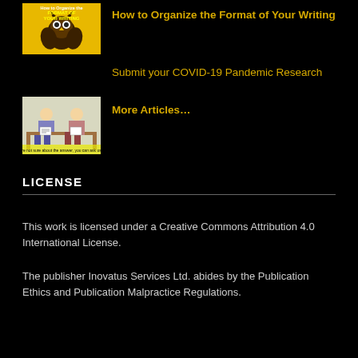[Figure (illustration): Yellow/orange background with owl graphic and text about formatting writing]
How to Organize the Format of Your Writing
Submit your COVID-19 Pandemic Research
[Figure (illustration): Light background with cartoon illustration of people writing]
More Articles…
LICENSE
This work is licensed under a Creative Commons Attribution 4.0 International License.
The publisher Inovatus Services Ltd. abides by the Publication Ethics and Publication Malpractice Regulations.